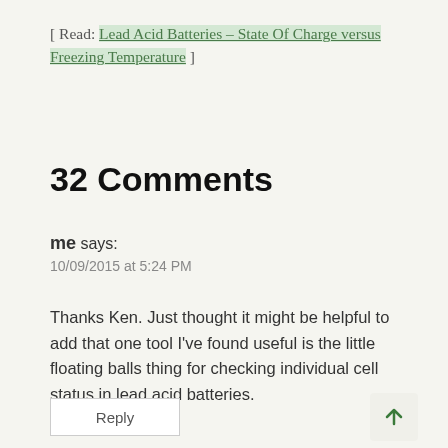[ Read: Lead Acid Batteries – State Of Charge versus Freezing Temperature ]
32 Comments
me says:
10/09/2015 at 5:24 PM
Thanks Ken. Just thought it might be helpful to add that one tool I've found useful is the little floating balls thing for checking individual cell status in lead acid batteries.